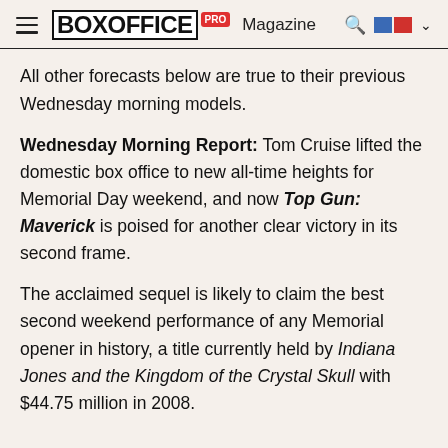BoxOffice PRO Magazine
All other forecasts below are true to their previous Wednesday morning models.
Wednesday Morning Report: Tom Cruise lifted the domestic box office to new all-time heights for Memorial Day weekend, and now Top Gun: Maverick is poised for another clear victory in its second frame.
The acclaimed sequel is likely to claim the best second weekend performance of any Memorial opener in history, a title currently held by Indiana Jones and the Kingdom of the Crystal Skull with $44.75 million in 2008.